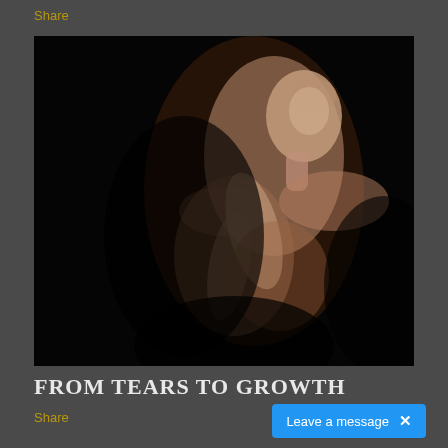Share
[Figure (photo): Dramatic black-background artistic photo of a slender person with head tilted back, hands clasped across chest, high-contrast dramatic lighting against dark background]
FROM TEARS TO GROWTH
Share
Leave a message  ×